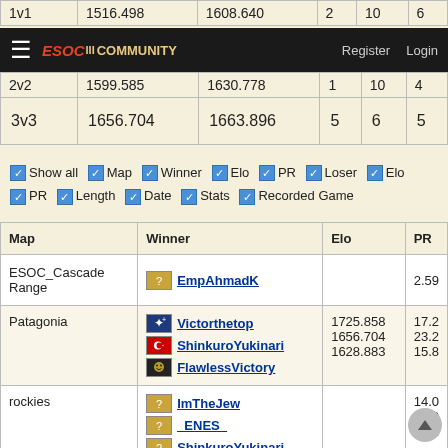|  |  |  |  |  |  |
| --- | --- | --- | --- | --- | --- |
| 1v1 | 1516.498 | 1608.640 | 2 | 10 | 6 |
| 2v2 | 1599.585 | 1630.778 | 1 | 10 | 4 |
| 3v3 | 1656.704 | 1663.896 | 5 | 6 | 5 |
ESOC Community — Register | Login
☑ Show all  ☑ Map  ☑ Winner  ☑ Elo  ☑ PR  ☑ Loser  ☑ Elo
☑ PR  ☑ Length  ☑ Date  ☑ Stats  ☑ Recorded Game
| Map | Winner | Elo | PR |
| --- | --- | --- | --- |
| ESOC_Cascade Range | EmpAhmadK |  | 2.59 |
| Patagonia | Victorthetop
ShinkuroYukinari
FlawlessVictory | 1725.858
1656.704
1628.883 | 17.2
23.2
15.8 |
| rockies | ImTheJew
_ENES_
ShinkuroYukinari |  | 14.0
17.0
23.2 |
| Painted Desert | Orifl | 1877.735 |  |